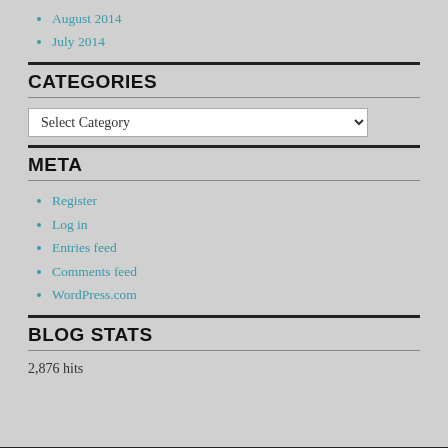August 2014
July 2014
CATEGORIES
Select Category
META
Register
Log in
Entries feed
Comments feed
WordPress.com
BLOG STATS
2,876 hits